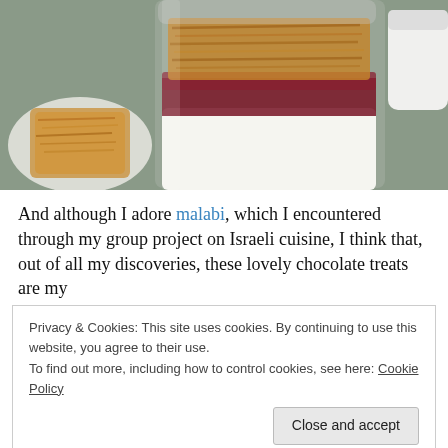[Figure (photo): Close-up photo of malabi dessert in a glass with a dark red berry topping and toasted coconut flakes on top, with a white plate of toasted coconut in the background and a white mug visible on the right, on a green-gray surface.]
And although I adore malabi, which I encountered through my group project on Israeli cuisine, I think that, out of all my discoveries, these lovely chocolate treats are my
Privacy & Cookies: This site uses cookies. By continuing to use this website, you agree to their use.
To find out more, including how to control cookies, see here: Cookie Policy
Close and accept
[Figure (photo): Partial bottom photo showing baked/crumble food items.]